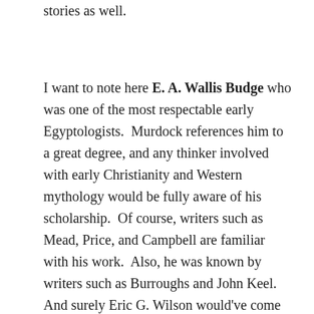stories as well.
I want to note here E. A. Wallis Budge who was one of the most respectable early Egyptologists.  Murdock references him to a great degree, and any thinker involved with early Christianity and Western mythology would be fully aware of his scholarship.  Of course, writers such as Mead, Price, and Campbell are familiar with his work.  Also, he was known by writers such as Burroughs and John Keel.  And surely Eric G. Wilson would've come across his writings.  Budge's scholarship